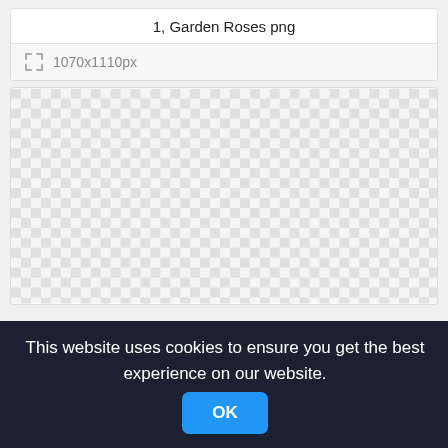1, Garden Roses png
1070x1110px
[Figure (other): Transparent checkerboard pattern representing an empty/transparent PNG image area]
This website uses cookies to ensure you get the best experience on our website.